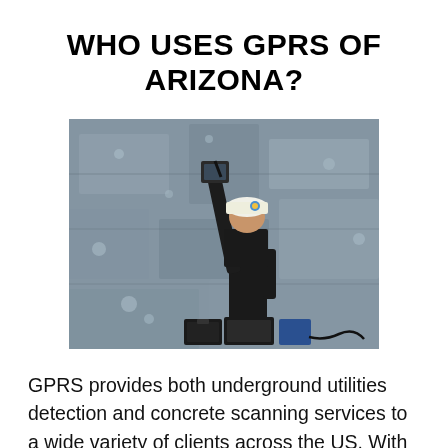WHO USES GPRS OF ARIZONA?
[Figure (photo): A worker in a hard hat using a GPR concrete scanning device, pressing it against a ceiling or overhead concrete surface. The worker holds the scanner up with one hand and is in what appears to be an underground or interior concrete space.]
GPRS provides both underground utilities detection and concrete scanning services to a wide variety of clients across the US. With a national network of technicians and locations in or near every major city